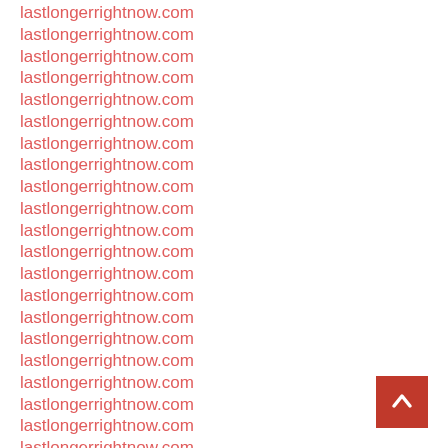lastlongerrightnow.com
lastlongerrightnow.com
lastlongerrightnow.com
lastlongerrightnow.com
lastlongerrightnow.com
lastlongerrightnow.com
lastlongerrightnow.com
lastlongerrightnow.com
lastlongerrightnow.com
lastlongerrightnow.com
lastlongerrightnow.com
lastlongerrightnow.com
lastlongerrightnow.com
lastlongerrightnow.com
lastlongerrightnow.com
lastlongerrightnow.com
lastlongerrightnow.com
lastlongerrightnow.com
lastlongerrightnow.com
lastlongerrightnow.com
lastlongerrightnow.com
[Figure (other): Red back-to-top button with upward arrow in the bottom-right corner]